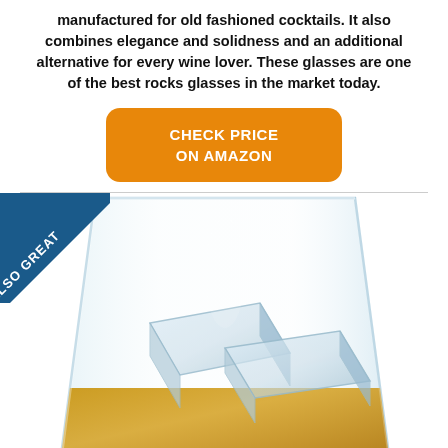manufactured for old fashioned cocktails. It also combines elegance and solidness and an additional alternative for every wine lover. These glasses are one of the best rocks glasses in the market today.
[Figure (other): Orange rounded rectangle button with white text reading CHECK PRICE ON AMAZON]
[Figure (photo): Photo of a rocks glass containing whiskey and ice cubes, with a diagonal blue banner in the top-left corner reading ALSO GREAT]